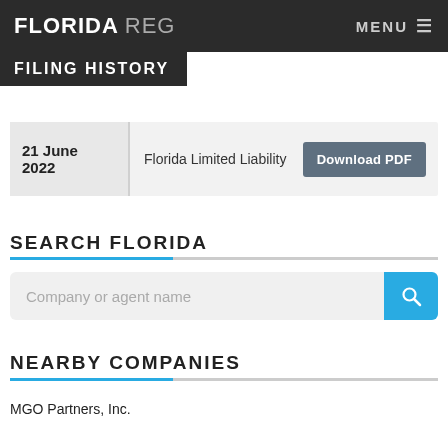FLORIDA REG — MENU
FILING HISTORY
| Date | Type | Action |
| --- | --- | --- |
| 21 June 2022 | Florida Limited Liability | Download PDF |
SEARCH FLORIDA
Company or agent name
NEARBY COMPANIES
MGO Partners, Inc.